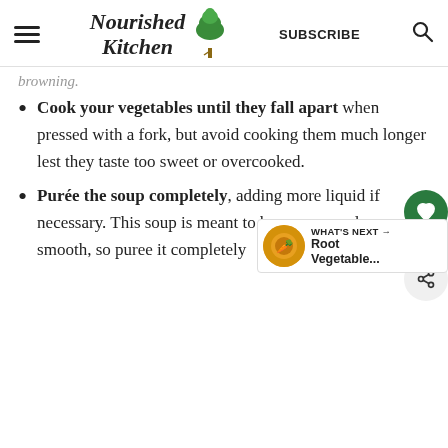Nourished Kitchen — SUBSCRIBE
browning.
Cook your vegetables until they fall apart when pressed with a fork, but avoid cooking them much longer lest they taste too sweet or overcooked.
Purée the soup completely, adding more liquid if necessary. This soup is meant to be creamy and smooth, so puree it completely